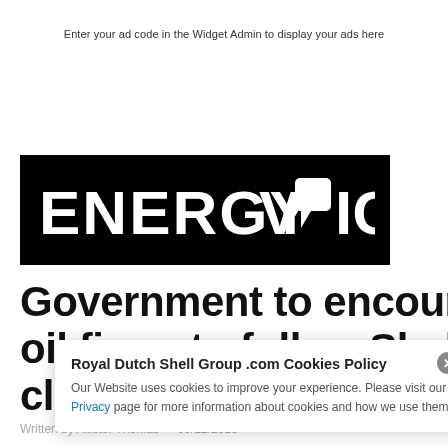Enter your ad code in the Widget Admin to display your ads here
[Figure (logo): Energy Voice logo — white text on black background]
Government to encourage oil firms to follow Shell climate strategy
Written by Allister Thomas — 09/12/2018
Royal Dutch Shell Group .com Cookies Policy
Our Website uses cookies to improve your experience. Please visit our Privacy page for more information about cookies and how we use them.